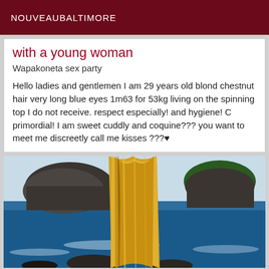NOUVEAUBALTIMORE
with a young woman
Wapakoneta sex party
Hello ladies and gentlemen I am 29 years old blond chestnut hair very long blue eyes 1m63 for 53kg living on the spinning top I do not receive. respect especially! and hygiene! C primordial! I am sweet cuddly and coquine??? you want to meet me discreetly call me kisses ???♥
[Figure (photo): Woman with long blonde hair seen from behind, facing rocky ocean islands and blue sea under a bright sky.]